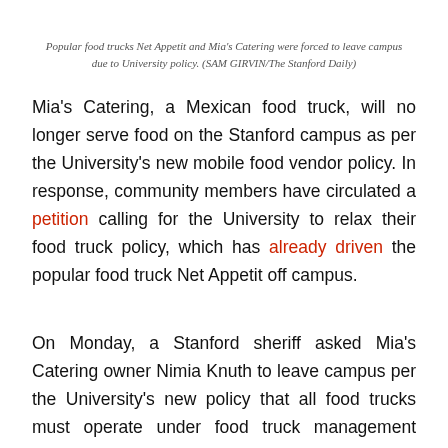Popular food trucks Net Appetit and Mia's Catering were forced to leave campus due to University policy. (SAM GIRVIN/The Stanford Daily)
Mia's Catering, a Mexican food truck, will no longer serve food on the Stanford campus as per the University's new mobile food vendor policy. In response, community members have circulated a petition calling for the University to relax their food truck policy, which has already driven the popular food truck Net Appetit off campus.
On Monday, a Stanford sheriff asked Mia's Catering owner Nimia Knuth to leave campus per the University's new policy that all food trucks must operate under food truck management company Off the Grid.